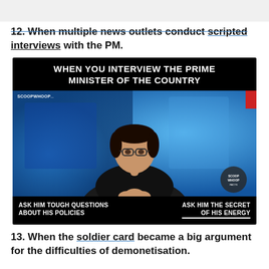12. When multiple news outlets conduct scripted interviews with the PM.
[Figure (photo): Meme image with black header text 'WHEN YOU INTERVIEW THE PRIME MINISTER OF THE COUNTRY', a news anchor photo with blue background, and black bottom bar with text 'ASK HIM TOUGH QUESTIONS ABOUT HIS POLICIES' on left and 'ASK HIM THE SECRET OF HIS ENERGY' on right. ScoopWhoop watermark visible.]
13. When the soldier card became a big argument for the difficulties of demonetisation.